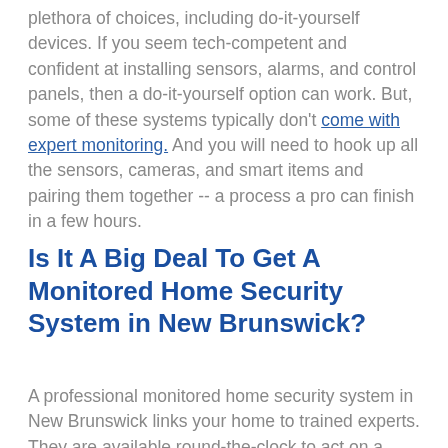plethora of choices, including do-it-yourself devices. If you seem tech-competent and confident at installing sensors, alarms, and control panels, then a do-it-yourself option can work. But, some of these systems typically don't come with expert monitoring. And you will need to hook up all the sensors, cameras, and smart items and pairing them together -- a process a pro can finish in a few hours.
Is It A Big Deal To Get A Monitored Home Security System in New Brunswick?
A professional monitored home security system in New Brunswick links your home to trained experts. They are available round-the-clock to act on a